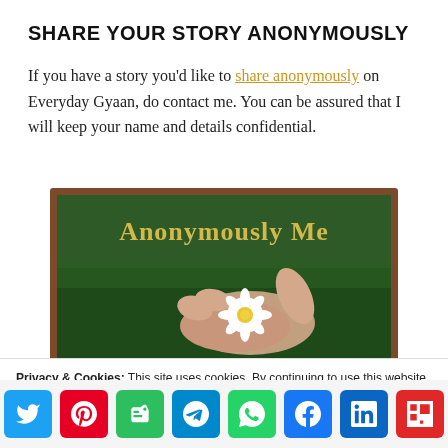SHARE YOUR STORY ANONYMOUSLY
If you have a story you'd like to share anonymously on Everyday Gyaan, do contact me. You can be assured that I will keep your name and details confidential.
[Figure (photo): Image with dark green chalkboard background showing yellow text 'Anonymously Me' and a hand holding a white daisy flower, framed with a brown border.]
Privacy & Cookies: This site uses cookies. By continuing to use this website, you agree to their use.
To find out more, including how to control cookies, see here: Cookie Policy